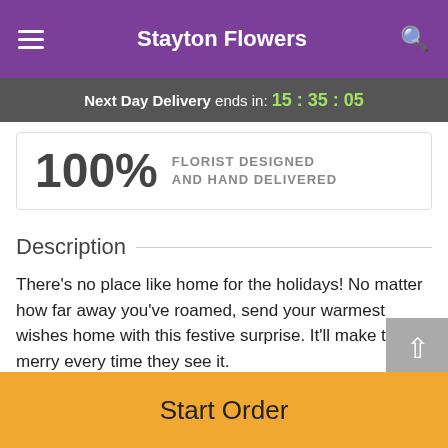Stayton Flowers
Next Day Delivery ends in: 15:35:05
100% FLORIST DESIGNED AND HAND DELIVERED
Description
There's no place like home for the holidays! No matter how far away you've roamed, send your warmest wishes home with this festive surprise. It'll make them merry every time they see it.
White mums and deep red carnations are accented with
Start Order